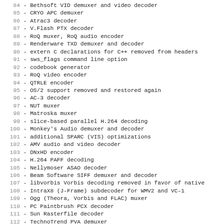84 - Bethsoft VID demuxer and video decoder
85 - CRYO APC demuxer
86 - Atrac3 decoder
87 - V.Flash PTX decoder
88 - RoQ muxer, RoQ audio encoder
89 - Renderware TXD demuxer and decoder
90 - extern C declarations for C++ removed from headers
91 - sws_flags command line option
92 - codebook generator
93 - RoQ video encoder
94 - QTRLE encoder
95 - OS/2 support removed and restored again
96 - AC-3 decoder
97 - NUT muxer
98 - Matroska muxer
99 - slice-based parallel H.264 decoding
100 - Monkey's Audio demuxer and decoder
101 - additional SPARC (VIS) optimizations
102 - AMV audio and video decoder
103 - DNxHD encoder
104 - H.264 PAFF decoding
105 - Nellymoser ASAO decoder
106 - Beam Software SIFF demuxer and decoder
107 - libvorbis Vorbis decoding removed in favor of native
108 - IntraX8 (J-Frame) subdecoder for WMV2 and VC-1
109 - Ogg (Theora, Vorbis and FLAC) muxer
110 - PC Paintbrush PCX decoder
111 - Sun Rasterfile decoder
112 - TechnoTrend PVA demuxer
113 - Linux Media Labs MPEG-4 (LMLM4) demuxer
114 - AVM2 (Flash 9) SWF muxer
115 - QT variant of IMA ADPCM encoder